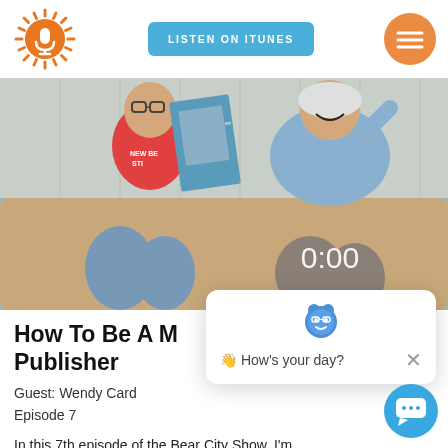[Figure (logo): Orange sun with microphone icon logo]
LISTEN ON ITUNES
[Figure (logo): Orange circle with hamburger/menu lines icon]
[Figure (photo): Two people sitting on a couch. A man in a red New Bern shirt holding a magazine/book, and a woman in a blue top laughing. Timer overlay shows 0:00]
How To Be A M... Publisher
Guest: Wendy Card
Episode 7
In this 7th episode of the Bear City Show, I'm sitting down with Wendy Card of NewBernNow.com – a
[Figure (screenshot): Chat widget popup with bear mascot icon and text: How's your day? with close X button]
[Figure (logo): Blue circle chat button]